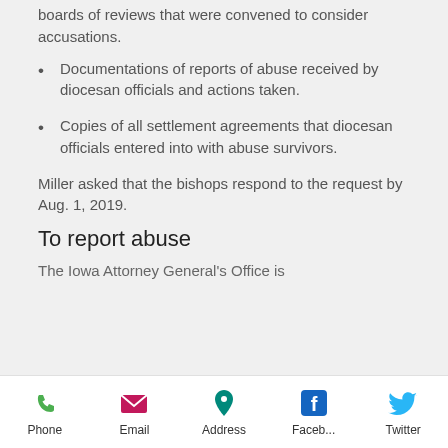boards of reviews that were convened to consider accusations.
Documentations of reports of abuse received by diocesan officials and actions taken.
Copies of all settlement agreements that diocesan officials entered into with abuse survivors.
Miller asked that the bishops respond to the request by Aug. 1, 2019.
To report abuse
The Iowa Attorney General's Office is
Phone  Email  Address  Faceb...  Twitter